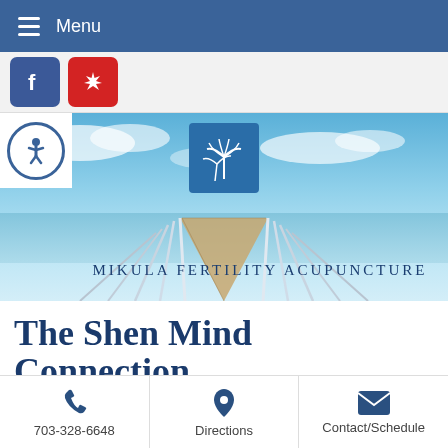Menu
[Figure (screenshot): Social media buttons: Facebook (blue square) and Yelp (red square with star icon)]
[Figure (photo): Hero banner with a long pier extending to the ocean under a blue sky, with accessibility icon button on the left, palm tree logo in center top, and text 'Mikula Fertility Acupuncture' overlaid]
The Shen Mind Connection
[Figure (photo): Article preview showing 'THE SHEN MIND' text on left side and a close-up photo of a monkey face on the right]
703-328-6648    Directions    Contact/Schedule